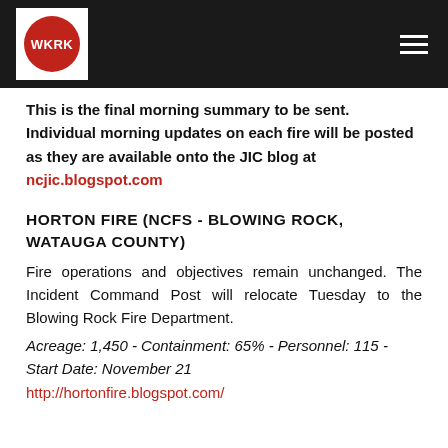WKRK
This is the final morning summary to be sent. Individual morning updates on each fire will be posted as they are available onto the JIC blog at ncjic.blogspot.com
HORTON FIRE (NCFS - BLOWING ROCK, WATAUGA COUNTY)
Fire operations and objectives remain unchanged. The Incident Command Post will relocate Tuesday to the Blowing Rock Fire Department.
Acreage: 1,450 - Containment: 65% - Personnel: 115 - Start Date: November 21
http://hortonfire.blogspot.com/